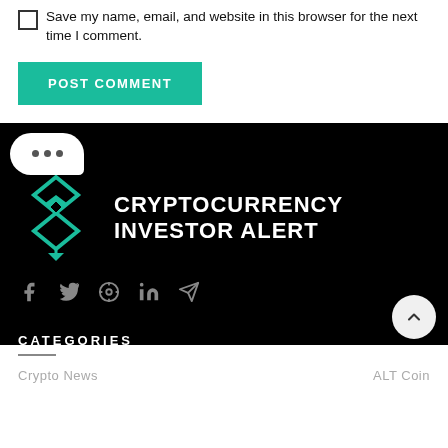Save my name, email, and website in this browser for the next time I comment.
POST COMMENT
[Figure (logo): Cryptocurrency Investor Alert logo with teal diamond geometric icon and white bold text on black background]
[Figure (infographic): Social media icons row: Facebook, Twitter, Pinterest, LinkedIn, Telegram in dark grey on black background]
CATEGORIES
Crypto News
ALT Coin